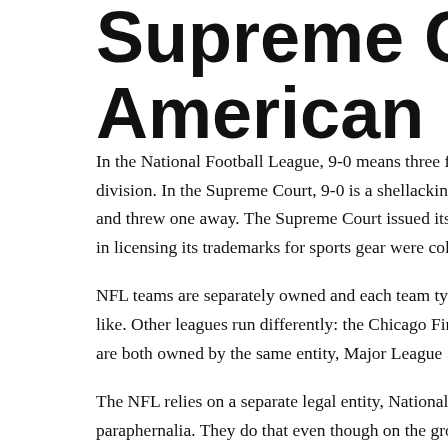Supreme Court … American Need…
In the National Football League, 9-0 means three field goal… division. In the Supreme Court, 9-0 is a shellacking. The N… and threw one away. The Supreme Court issued its opinion… in licensing its trademarks for sports gear were collective a…
NFL teams are separately owned and each team typically o… like. Other leagues run differently: the Chicago Fire and Re… are both owned by the same entity, Major League Soccer L…
The NFL relies on a separate legal entity, National Football… paraphernalia. They do that even though on the ground ther… between Chicago and Indianapolis and let's see which shirt… Cutlers).
NFLP changed how it approached licensing. It had granted… switched course and granted an exclusive license to Reebo…